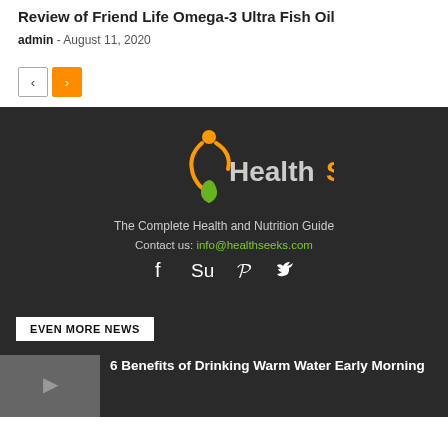Review of Friend Life Omega-3 Ultra Fish Oil
admin - August 11, 2020
[Figure (other): Navigation previous and next buttons]
[Figure (logo): HealthSeeks logo with green leaf and orange figure icon]
The Complete Health and Nutrition Guide
Contact us: info@healthseeks.com
[Figure (other): Social media icons: Facebook, StumbleUpon, Pinterest, Twitter]
EVEN MORE NEWS
6 Benefits of Drinking Warm Water Early Morning